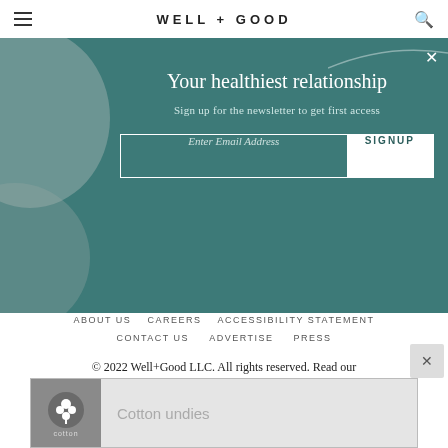WELL+GOOD
[Figure (screenshot): Newsletter signup popup with teal background. Title: 'Your healthiest relationship'. Subtitle: 'Sign up for the newsletter to get first access'. Email input and SIGNUP button.]
ABOUT US   CAREERS   ACCESSIBILITY STATEMENT
CONTACT US   ADVERTISE   PRESS
© 2022 Well+Good LLC. All rights reserved. Read our Privacy Policy and Terms and Conditions.
Do Not Sell My Personal Information
[Figure (infographic): Cotton undies advertisement banner at the bottom with cotton logo and text 'Cotton undies']